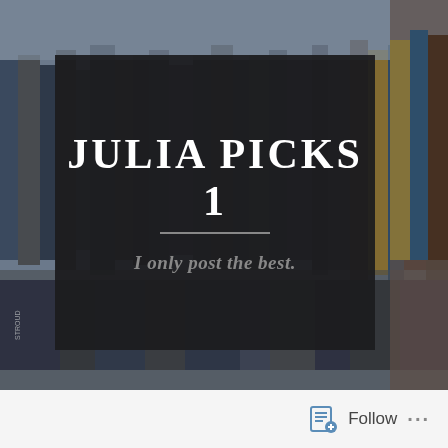[Figure (photo): Background photo of books on shelves, blurred, with colorful spines visible]
JULIA PICKS 1
I only post the best.
Follow ...